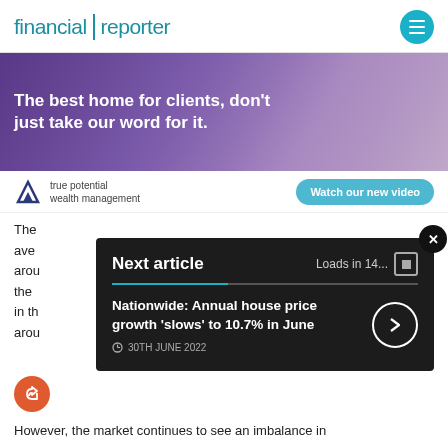financial reporter
[Figure (photo): Advertisement banner for True Potential Wealth Management: dark purple/mauve photo of people at laptops with white bold text 'The best home for clients, don't just take our word for it.' and True Potential logo with 'Watch our new video' button.]
The [partially obscured] ave[rage] arou[nd] the [market] in th[e sector] arou[nd]
Next article   Loads in 14...
Nationwide: Annual house price growth 'slows' to 10.7% in June
30TH JUNE 2022
However, the market continues to see an imbalance in